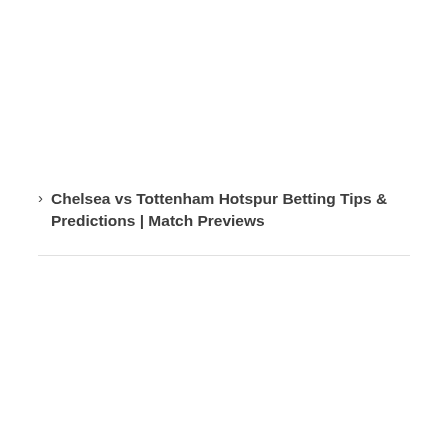> Chelsea vs Tottenham Hotspur Betting Tips & Predictions | Match Previews